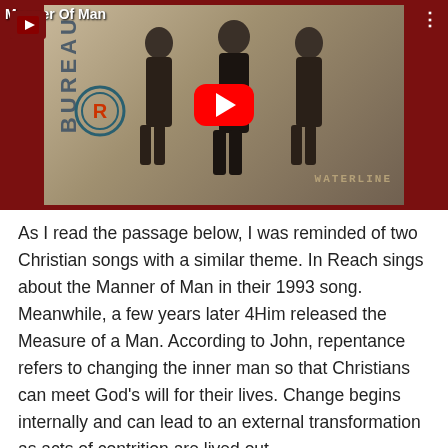[Figure (screenshot): YouTube video thumbnail showing a music album cover for 'Manner of Man' by Reach (album: Waterline, 1993). Three men in dark suits stand on the cover. A large red YouTube play button is overlaid in the center. The video title 'Manner Of Man' appears in white text at top. The video player has a dark red background.]
As I read the passage below, I was reminded of two Christian songs with a similar theme. In Reach sings about the Manner of Man in their 1993 song. Meanwhile, a few years later 4Him released the Measure of a Man. According to John, repentance refers to changing the inner man so that Christians can meet God's will for their lives. Change begins internally and can lead to an external transformation as acts of contrition are lived out